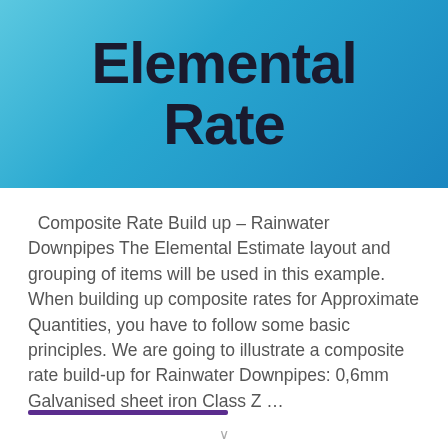[Figure (illustration): Blue gradient banner with large bold black text reading 'Elemental Rate']
Composite Rate Build up – Rainwater Downpipes The Elemental Estimate layout and grouping of items will be used in this example. When building up composite rates for Approximate Quantities, you have to follow some basic principles. We are going to illustrate a composite rate build-up for Rainwater Downpipes: 0,6mm Galvanised sheet iron Class Z …